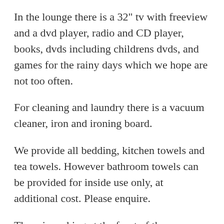In the lounge there is a 32" tv with freeview and a dvd player, radio and CD player, books, dvds including childrens dvds, and games for the rainy days which we hope are not too often.
For cleaning and laundry there is a vacuum cleaner, iron and ironing board.
We provide all bedding, kitchen towels and tea towels. However bathroom towels can be provided for inside use only, at additional cost. Please enquire.
There is parking at the front of the caravan and a large decking with patio furniture and gas barbecue. There is a small garden area which is safe for children to play, well away